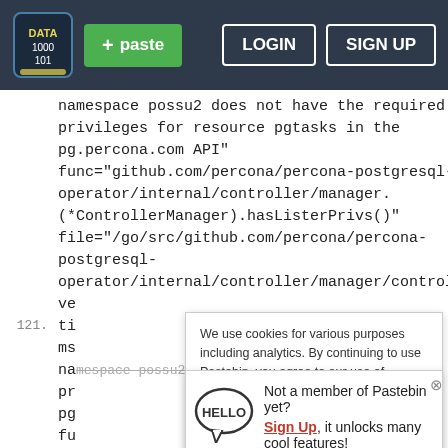[Figure (screenshot): Pastebin website navigation bar with logo, green paste button, LOGIN and SIGN UP buttons on dark background]
namespace possu2 does not have the required list privileges for resource pgtasks in the pg.percona.com API" func="github.com/percona/percona-postgresql-operator/internal/controller/manager.(*ControllerManager).hasListerPrivs()" file="/go/src/github.com/percona/percona-postgresql-operator/internal/controller/manager/controllermanager.go" ... (line 121) ... namespace possu2 does not have the required list privileges for resource pgtasks in the pg.percona.com API" func="operator/internal/controller/manager.
We use cookies for various purposes including analytics. By continuing to use Pastebin, you agree to our use of cookies as described in the Cookies Policy. OK, I Understand
Not a member of Pastebin yet? Sign Up, it unlocks many cool features!